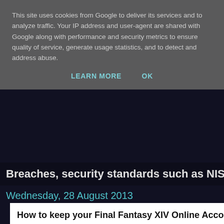This site uses cookies from Google to deliver its services and to analyze traffic. Your IP address and user-agent are shared with Google along with performance and security metrics to ensure quality of service, generate usage statistics, and to detect and address abuse.
LEARN MORE    OK
Breaches, security standards such as NIST, PCI DSS,
Wednesday, 28 August 2013
How to keep your Final Fantasy XIV Online Acco
Final Fantasy XIV, is a new online multi-player role playing game (MMO) Sony PlayStation 3 and PC this week by Square Enix. Gaming accounts targeted by cyber thieves, as they look to profit from victims by selling off exchange for real life money, and to even also harvest personal.
[Figure (photo): Broken image placeholder]